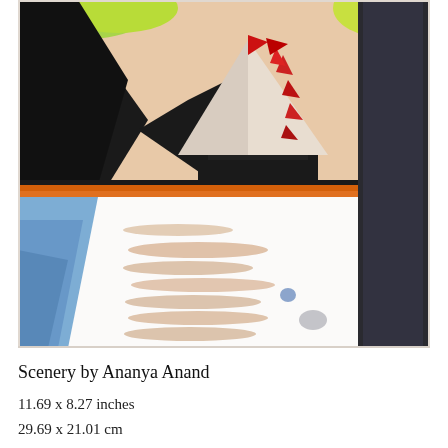[Figure (illustration): A child's watercolor/tempera painting depicting a scenic landscape: black rocky mountains/cliffs in the upper portion with green and yellow foliage, an orange horizon line, a sailboat with red sail markings in the center upper area, and a large white area representing water or snow in the lower portion with light peach/tan brushstroke streaks. A dark vertical tree or post on the right side. Blue areas on the left side.]
Scenery by Ananya Anand
11.69 x 8.27 inches
29.69 x 21.01 cm